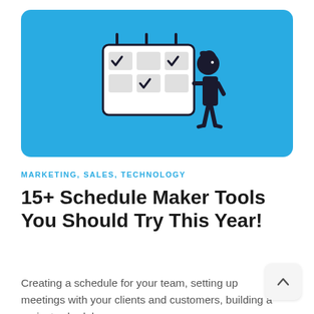[Figure (illustration): Blue rounded rectangle background with a stick figure person pointing at a calendar/checklist grid with checkmarks, on a light blue (#29abe2) background.]
MARKETING, SALES, TECHNOLOGY
15+ Schedule Maker Tools You Should Try This Year!
Creating a schedule for your team, setting up meetings with your clients and customers, building a project schedule,